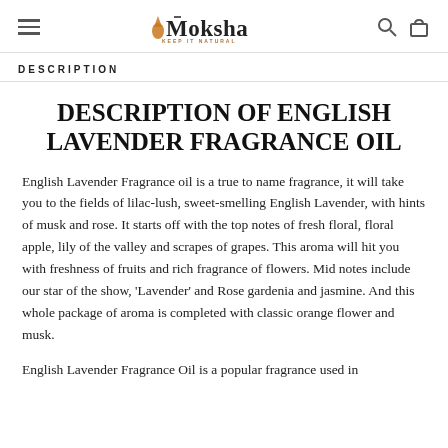Moksha — KEEP IT NATURAL
DESCRIPTION
DESCRIPTION OF ENGLISH LAVENDER FRAGRANCE OIL
English Lavender Fragrance oil is a true to name fragrance, it will take you to the fields of lilac-lush, sweet-smelling English Lavender, with hints of musk and rose. It starts off with the top notes of fresh floral, floral apple, lily of the valley and scrapes of grapes. This aroma will hit you with freshness of fruits and rich fragrance of flowers. Mid notes include our star of the show, 'Lavender' and Rose gardenia and jasmine. And this whole package of aroma is completed with classic orange flower and musk.
English Lavender Fragrance Oil is a popular fragrance used in